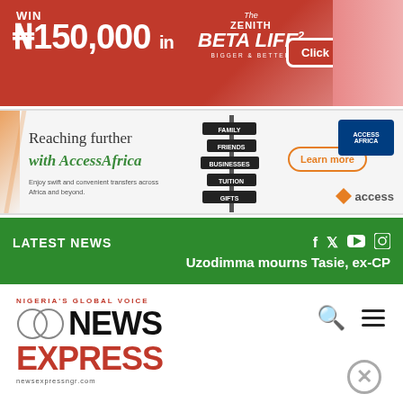[Figure (infographic): Zenith Bank Beta Life advertisement banner. Red background with text 'WIN ₦150,000 in The Zenith Beta Life - Bigger & Better' and a red 'Click here' button. Features a child on the right side with Zenith logo.]
[Figure (infographic): Access Bank AccessAfrica advertisement banner. Light grey background with orange diagonal stripe. Text: 'Reaching further with AccessAfrica. Enjoy swift and convenient transfers across Africa and beyond.' with a directional signpost graphic, 'Learn more' button, Access Africa logo and Access Bank diamond logo.]
LATEST NEWS
Uzodimma mourns Tasie, ex-CP
[Figure (logo): News Express newspaper logo. Circles interlinked graphic, NIGERIA'S GLOBAL VOICE tagline in red, NEWS in black bold, EXPRESS in red bold, website newsexpressngr.com shown below.]